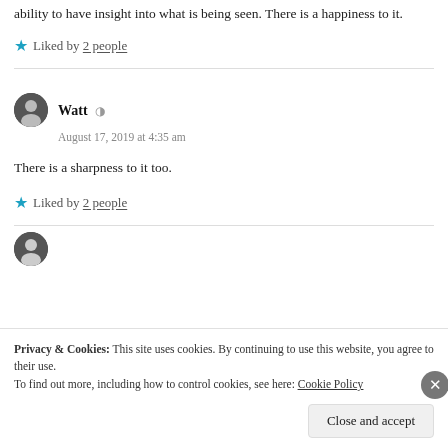ability to have insight into what is being seen. There is a happiness to it.
★ Liked by 2 people
Watt
August 17, 2019 at 4:35 am
There is a sharpness to it too.
★ Liked by 2 people
Privacy & Cookies: This site uses cookies. By continuing to use this website, you agree to their use. To find out more, including how to control cookies, see here: Cookie Policy
Close and accept